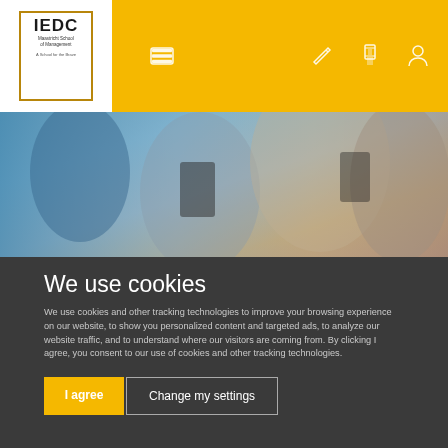IEDC Website header with logo and navigation icons
[Figure (screenshot): Hero image showing blurred people using smartphones/devices, blue and warm tones]
We use cookies
We use cookies and other tracking technologies to improve your browsing experience on our website, to show you personalized content and targeted ads, to analyze our website traffic, and to understand where our visitors are coming from. By clicking I agree, you consent to our use of cookies and other tracking technologies.
I agree | Change my settings